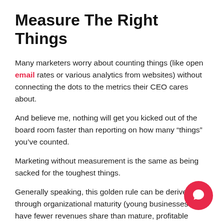Measure The Right Things
Many marketers worry about counting things (like open email rates or various analytics from websites) without connecting the dots to the metrics their CEO cares about.
And believe me, nothing will get you kicked out of the board room faster than reporting on how many “things” you’ve counted.
Marketing without measurement is the same as being sacked for the toughest things.
Generally speaking, this golden rule can be derived through organizational maturity (young businesses may have fewer revenues share than mature, profitable companies).